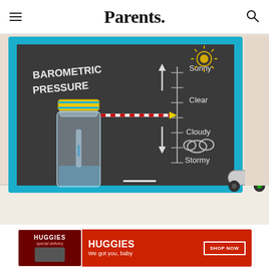Parents.
[Figure (photo): A barometric pressure science experiment showing a chalkboard with 'Barometric Pressure' written in chalk, a scale showing Sunny/Clear/Cloudy/Stormy with arrows, and a glass jar with a red and white straw attached to a yellow lid, placed on a shelf with a skateboard beside it. The chalkboard has a blue frame.]
PHOTO: PHOTOGRAPH BY ANDREW GRETO
[Figure (infographic): Huggies advertisement banner. Left panel shows Huggies dark red box with 'special delivery' text. Right panel is red with 'HUGGIES We got you, baby' and a 'SHOP NOW' button.]